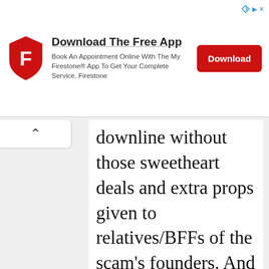[Figure (infographic): Firestone app advertisement banner with logo, title 'Download The Free App', subtitle text, and red Download button]
downline without those sweetheart deals and extra props given to relatives/BFFs of the scam's founders. And you wouldn't be here because you'd just have no time. Your downline would be collapsing around your ears